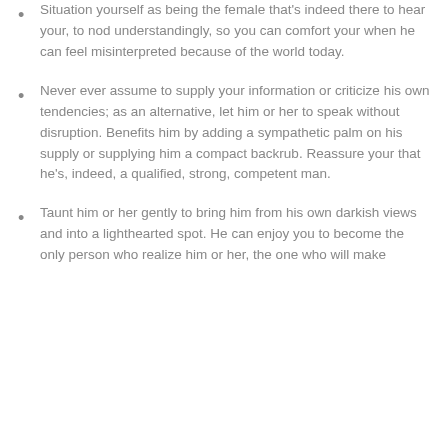Situation yourself as being the female that's indeed there to hear your, to nod understandingly, so you can comfort your when he can feel misinterpreted because of the world today.
Never ever assume to supply your information or criticize his own tendencies; as an alternative, let him or her to speak without disruption. Benefits him by adding a sympathetic palm on his supply or supplying him a compact backrub. Reassure your that he's, indeed, a qualified, strong, competent man.
Taunt him or her gently to bring him from his own darkish views and into a lighthearted spot. He can enjoy you to become the only person who realize him or her, the one who will make